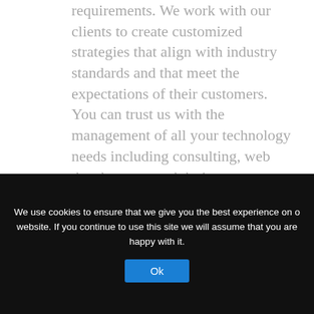requirements. We work with our clients to create customized strategies that align with industry standards and that meet the expectations of their customers. You can trust us with the management of all your technology needs including consulting, web development and design.
+ More information
We use cookies to ensure that we give you the best experience on our website. If you continue to use this site we will assume that you are happy with it.
Ok